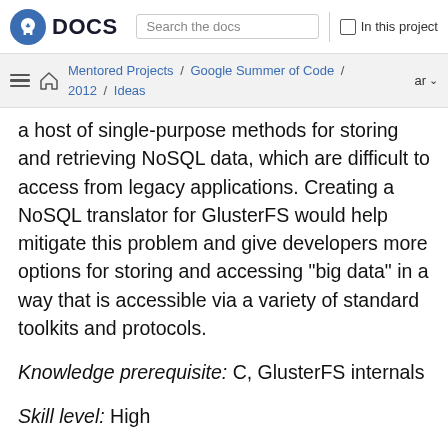Fedora DOCS | Search the docs | In this project
Mentored Projects / Google Summer of Code / 2012 / Ideas  ar
a host of single-purpose methods for storing and retrieving NoSQL data, which are difficult to access from legacy applications. Creating a NoSQL translator for GlusterFS would help mitigate this problem and give developers more options for storing and accessing "big data" in a way that is accessible via a variety of standard toolkits and protocols.
Knowledge prerequisite: C, GlusterFS internals
Skill level: High
Contacts: johnmark [AT]redhat [DOT] com ,